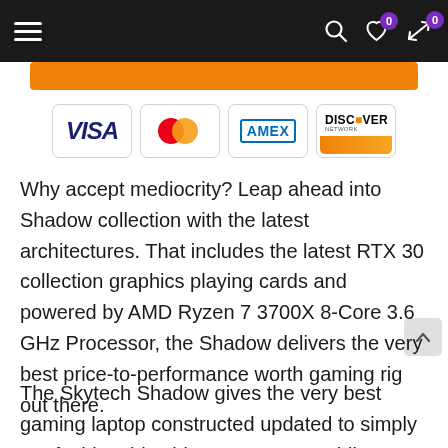Navigation bar with hamburger menu, search, heart (0), and compare (0) icons
[Figure (other): Orange button bar]
[Figure (other): Payment method logos: VISA, MasterCard, AMEX, DISCOVER]
Why accept mediocrity? Leap ahead into Shadow collection with the latest architectures. That includes the latest RTX 30 collection graphics playing cards and powered by AMD Ryzen 7 3700X 8-Core 3.6 GHz Processor, the Shadow delivers the very best price-to-performance worth gaming rig out there.
The Skytech Shadow gives the very best gaming laptop constructed updated to simply run fashionable video games resembling World of